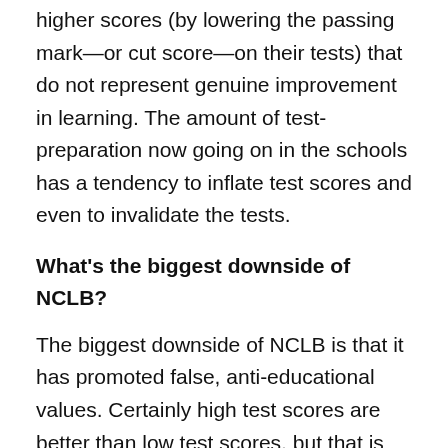higher scores (by lowering the passing mark—or cut score—on their tests) that do not represent genuine improvement in learning. The amount of test-preparation now going on in the schools has a tendency to inflate test scores and even to invalidate the tests.
What's the biggest downside of NCLB?
The biggest downside of NCLB is that it has promoted false, anti-educational values. Certainly high test scores are better than low test scores, but that is not all that matters in education. What about science, the arts, history, literature, foreign languages? My hunch is that NCLB is doing nothing to reverse the dumbing down of our children and our society, and may even be accelerating it.
The greatest benefit?
The greatest benefit of NCLB is that it has promoted a